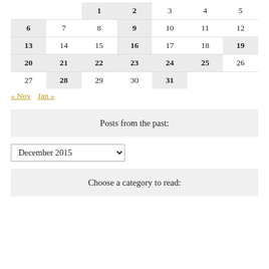|  |  | 1 | 2 | 3 | 4 | 5 |
| 6 | 7 | 8 | 9 | 10 | 11 | 12 |
| 13 | 14 | 15 | 16 | 17 | 18 | 19 |
| 20 | 21 | 22 | 23 | 24 | 25 | 26 |
| 27 | 28 | 29 | 30 | 31 |  |  |
« Nov   Jan »
Posts from the past:
December 2015
Choose a category to read: